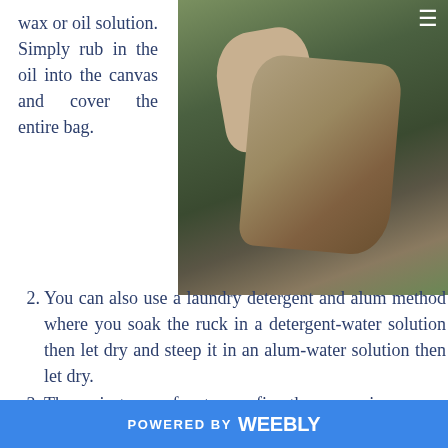wax or oil solution. Simply rub in the oil into the canvas and cover the entire bag.
[Figure (photo): A canvas backpack/rucksack hanging on tree branches outdoors, with green foliage in the background.]
2. You can also use a laundry detergent and alum method where you soak the ruck in a detergent-water solution then let dry and steep it in an alum-water solution then let dry.
3. The easiest way of waterproofing the canvas is
POWERED BY weebly